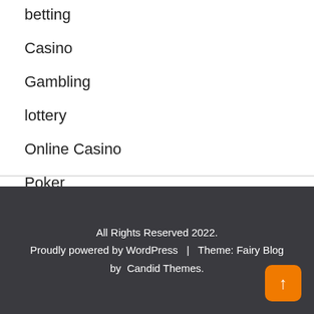betting
Casino
Gambling
lottery
Online Casino
Poker
All Rights Reserved 2022.
Proudly powered by WordPress  |  Theme: Fairy Blog by Candid Themes.